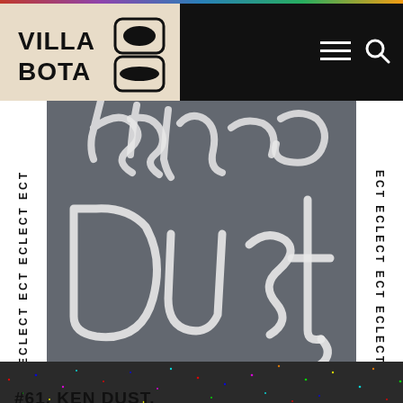[Figure (screenshot): Villa Bota website screenshot showing: top navigation bar with Villa Bota logo on tan/beige background, hamburger menu and search icon on black background; main feature image of handwritten text reading 'Ken Dust' on dark gray background with white vertical stripe labels reading 'ECLECT' on both sides; title '#61. KEN DUST.' on speckled dark background; bottom portion showing grayscale photo of two figures in diving suits or masks.]
#61. KEN DUST.